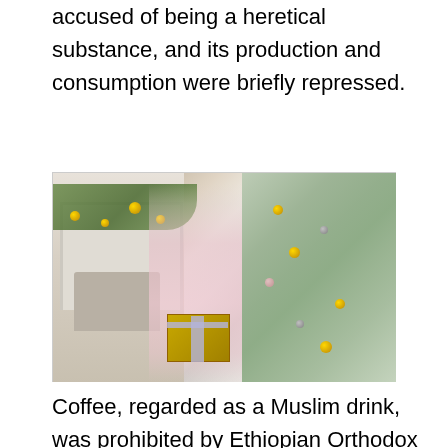accused of being a heretical substance, and its production and consumption were briefly repressed.
[Figure (photo): A young girl in a pink dress holding a gold wrapped present, standing in front of a decorated Christmas tree with gold and silver ornaments, and a white fireplace with evergreen garland in the background.]
Coffee, regarded as a Muslim drink, was prohibited by Ethiopian Orthodox Christians until